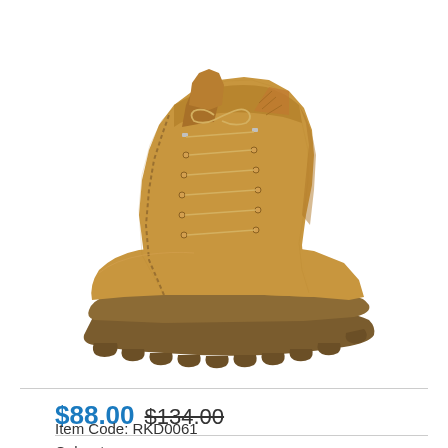[Figure (photo): A tan/coyote brown military tactical boot with laces, suede upper, and aggressive rubber lug outsole, shown in profile view on white background.]
$88.00 $134.00
Item Code: RKD0061
Color: *